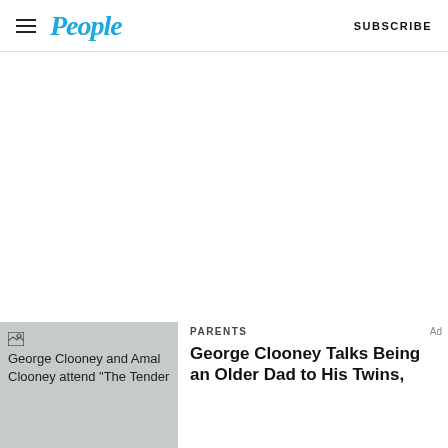People — SUBSCRIBE
[Figure (other): Large blank white advertisement area]
[Figure (photo): Thumbnail image placeholder showing 'George Clooney and Amal Clooney attend The Tender...' with broken image icon and gray background]
PARENTS
George Clooney Talks Being an Older Dad to His Twins,